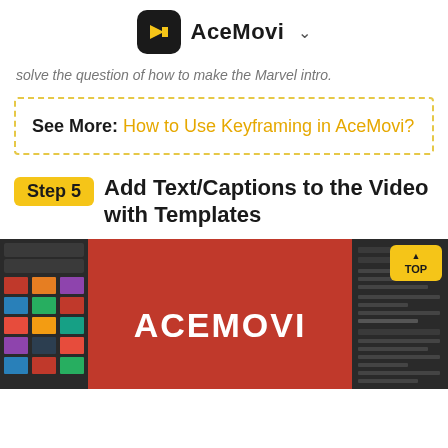AceMovi
solve the question of how to make the Marvel intro.
See More: How to Use Keyframing in AceMovi?
Step 5  Add Text/Captions to the Video with Templates
[Figure (screenshot): Screenshot of AceMovi video editor showing a red background with bold white text 'ACEMOVI', with a panel of video thumbnails on the left and settings panel on the right. A yellow 'TOP' button is visible in the top right.]